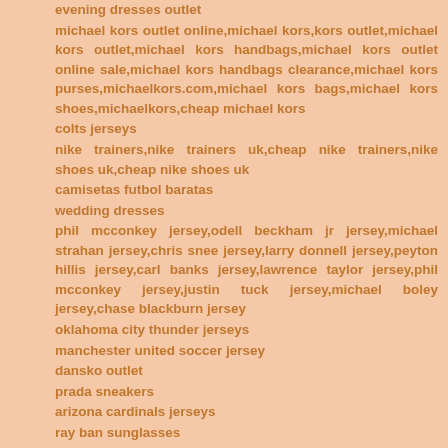evening dresses outlet
michael kors outlet online,michael kors,kors outlet,michael kors outlet,michael kors handbags,michael kors outlet online sale,michael kors handbags clearance,michael kors purses,michaelkors.com,michael kors bags,michael kors shoes,michaelkors,cheap michael kors
colts jerseys
nike trainers,nike trainers uk,cheap nike trainers,nike shoes uk,cheap nike shoes uk
camisetas futbol baratas
wedding dresses
phil mcconkey jersey,odell beckham jr jersey,michael strahan jersey,chris snee jersey,larry donnell jersey,peyton hillis jersey,carl banks jersey,lawrence taylor jersey,phil mcconkey jersey,justin tuck jersey,michael boley jersey,chase blackburn jersey
oklahoma city thunder jerseys
manchester united soccer jersey
dansko outlet
prada sneakers
arizona cardinals jerseys
ray ban sunglasses